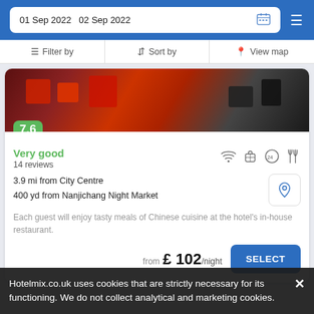01 Sep 2022  02 Sep 2022
Filter by  |  Sort by  |  View map
[Figure (photo): Hotel lobby photo showing red and black sofas/chairs with a score badge of 7.6]
Very good
14 reviews
3.9 mi from City Centre
400 yd from Nanjichang Night Market
Each guest will enjoy tasty meals of Chinese cuisine at the hotel's in-house restaurant.
from £ 102/night
SELECT
Hotelmix.co.uk uses cookies that are strictly necessary for its functioning. We do not collect analytical and marketing cookies.